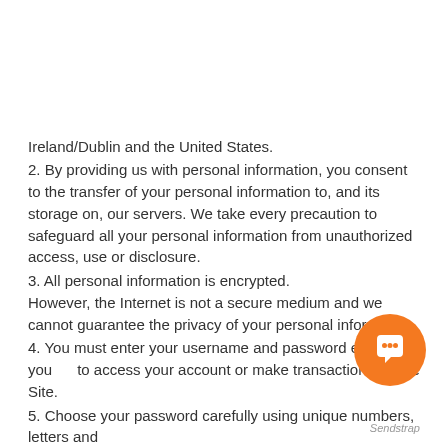Ireland/Dublin and the United States.
2. By providing us with personal information, you consent to the transfer of your personal information to, and its storage on, our servers. We take every precaution to safeguard all your personal information from unauthorized access, use or disclosure.
3. All personal information is encrypted. However, the Internet is not a secure medium and we cannot guarantee the privacy of your personal information.
4. You must enter your username and password each time you to access your account or make transactions on the Site.
5. Choose your password carefully using unique numbers, letters and